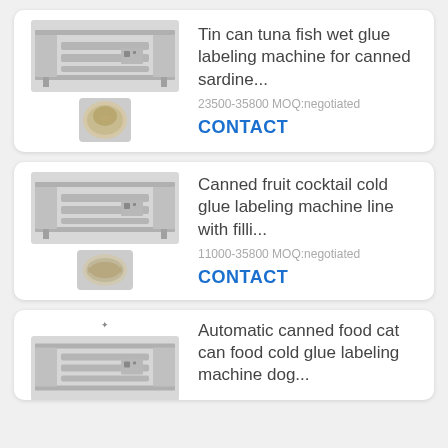[Figure (photo): Product listing card 1: stainless steel tin can tuna fish wet glue labeling machine (large machine image + small tuna can image)]
Tin can tuna fish wet glue labeling machine for canned sardine...
23500-35800 MOQ:negotiated
CONTACT
[Figure (photo): Product listing card 2: stainless steel canned fruit cocktail cold glue labeling machine line (large machine image + small canned fruit image)]
Canned fruit cocktail cold glue labeling machine line with filli...
11000-35800 MOQ:negotiated
CONTACT
[Figure (photo): Product listing card 3 (partial): automatic canned food cat can food cold glue labeling machine (partial view)]
Automatic canned food cat can food cold glue labeling machine dog...